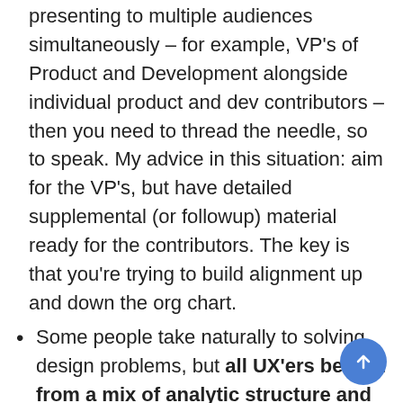presenting to multiple audiences simultaneously – for example, VP's of Product and Development alongside individual product and dev contributors – then you need to thread the needle, so to speak. My advice in this situation: aim for the VP's, but have detailed supplemental (or followup) material ready for the contributors. The key is that you're trying to build alignment up and down the org chart.
Some people take naturally to solving design problems, but all UX'ers benefit from a mix of analytic structure and free-form, inspiration-driven creativity. It's been fun watching